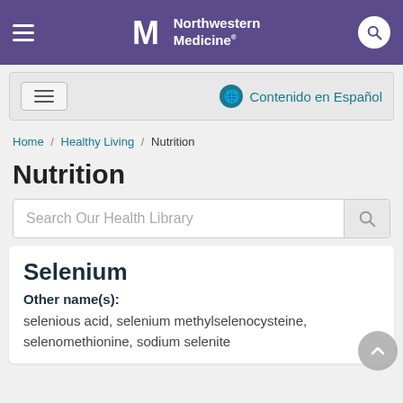Northwestern Medicine
Contenido en Español
Home / Healthy Living / Nutrition
Nutrition
Search Our Health Library
Selenium
Other name(s):
selenious acid, selenium methylselenocysteine, selenomethionine, sodium selenite